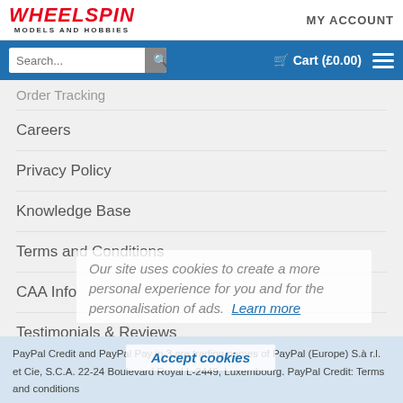WHEELSPIN MODELS AND HOBBIES | MY ACCOUNT
Search... Cart (£0.00)
Order Tracking
Careers
Privacy Policy
Knowledge Base
Terms and Conditions
CAA Info
Testimonials & Reviews
Finance
Sustainability
Manuals & Exploded Views
Our site uses cookies to create a more personal experience for you and for the personalisation of ads. Learn more
PayPal Credit and PayPal Pay in 3 are trading names of PayPal (Europe) S.à r.l. et Cie, S.C.A. 22-24 Boulevard Royal L-2449, Luxembourg. PayPal Credit: Terms and conditions